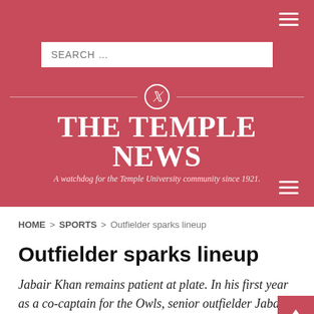THE TEMPLE NEWS — A watchdog for the Temple University community since 1921.
HOME > SPORTS > Outfielder sparks lineup
Outfielder sparks lineup
Jabair Khan remains patient at plate. In his first year as a co-captain for the Owls, senior outfielder Jabair Khan has not had the start to the 2012 season that he